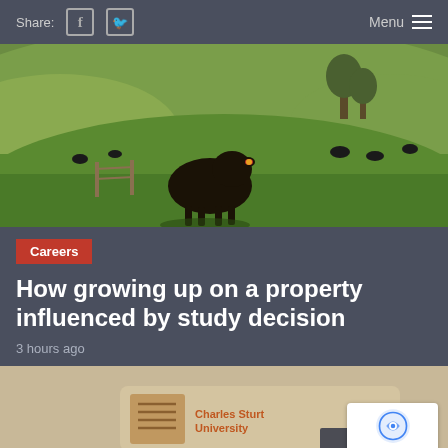Share: [Facebook] [Twitter]   Menu ≡
[Figure (photo): A black cow standing on a green grassy field with rolling hills and trees in the background, with more cattle visible in the distance.]
Careers
How growing up on a property influenced by study decision
3 hours ago
[Figure (photo): A Charles Sturt University branded item (appears to be a USB drive or similar) with the university logo visible.]